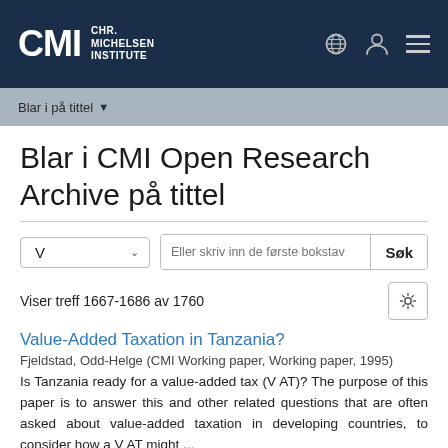[Figure (logo): CMI Chr. Michelsen Institute logo — white text on dark navy background]
Blar i på tittel
Blar i CMI Open Research Archive på tittel
V   Eller skriv inn de første bokstav   Søk
Viser treff 1667-1686 av 1760
Value-Added Taxation in Tanzania?
Fjeldstad, Odd-Helge (CMI Working paper, Working paper, 1995)
Is Tanzania ready for a value-added tax (V AT)? The purpose of this paper is to answer this and other related questions that are often asked about value-added taxation in developing countries, to consider how a V AT might ...